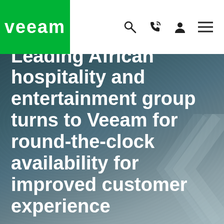[Figure (logo): Veeam logo: white text 'veeam' on green background rectangle, positioned in top-left navigation bar]
Navigation bar with Veeam logo and icons: search, phone, user, menu
[Figure (photo): Dark teal/grey textured background with geometric chevron shapes in bottom-right corner]
Leading African hospitality and entertainment group turns to Veeam for round-the-clock availability for improved customer experience